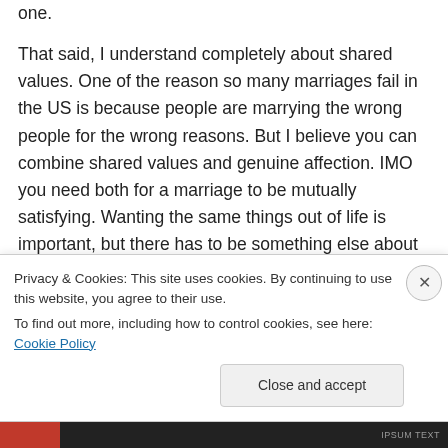one.
That said, I understand completely about shared values. One of the reason so many marriages fail in the US is because people are marrying the wrong people for the wrong reasons. But I believe you can combine shared values and genuine affection. IMO you need both for a marriage to be mutually satisfying. Wanting the same things out of life is important, but there has to be something else about the person that
Privacy & Cookies: This site uses cookies. By continuing to use this website, you agree to their use.
To find out more, including how to control cookies, see here: Cookie Policy